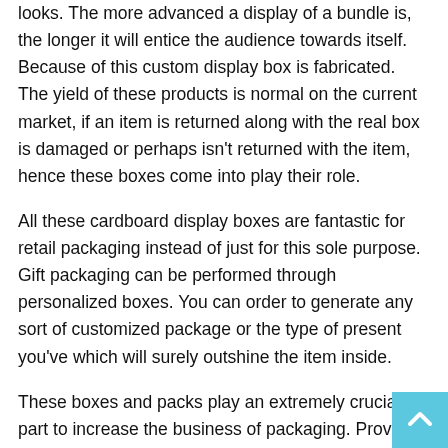looks. The more advanced a display of a bundle is, the longer it will entice the audience towards itself. Because of this custom display box is fabricated. The yield of these products is normal on the current market, if an item is returned along with the real box is damaged or perhaps isn't returned with the item, hence these boxes come into play their role.
All these cardboard display boxes are fantastic for retail packaging instead of just for this sole purpose. Gift packaging can be performed through personalized boxes. You can order to generate any sort of customized package or the type of present you've which will surely outshine the item inside.
These boxes and packs play an extremely crucial part to increase the business of packaging. Provided that individuals and companies are in need, and they're constantly, they can purchase customized display boxes of cardboard to be able to make their product stick out from the remainder.